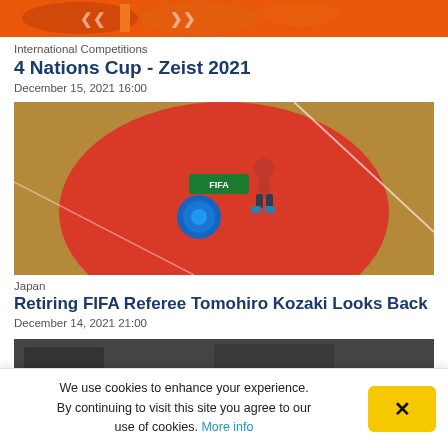[Figure (photo): Partially visible banner/image at the top of the page, showing orange and blue shapes, possibly a sports competition logo]
International Competitions
4 Nations Cup - Zeist 2021
December 15, 2021 16:00
[Figure (photo): Photo of a person (referee) crouching on a large red circular center spot on a futsal/indoor court, with FIFA futsal event branding visible]
Japan
Retiring FIFA Referee Tomohiro Kozaki Looks Back
December 14, 2021 21:00
[Figure (photo): Partially visible photo at the bottom of the page, dark image of an indoor venue]
We use cookies to enhance your experience. By continuing to visit this site you agree to our use of cookies. More info